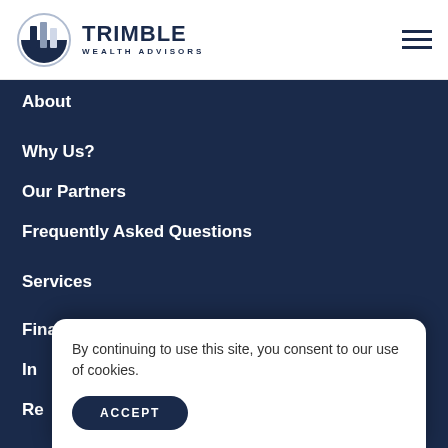[Figure (logo): Trimble Wealth Advisors logo with circular shield icon in dark navy and blue-grey, with bold text TRIMBLE and subtitle WEALTH ADVISORS]
About
Why Us?
Our Partners
Frequently Asked Questions
Services
Financial Planning
In[vestment Management] (partially hidden)
Re[tirement Planning] (partially hidden)
By continuing to use this site, you consent to our use of cookies.
ACCEPT